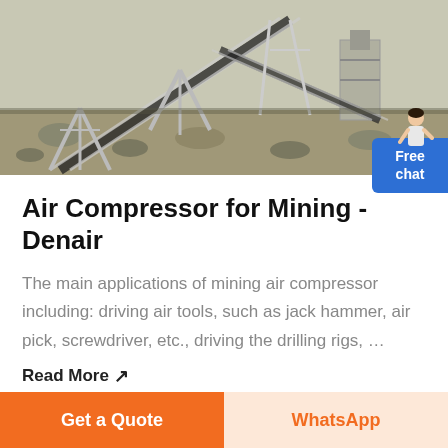[Figure (photo): Mining site with conveyor belts, steel frame structures, and gravel/rock ground — a quarry or mineral processing facility viewed from ground level.]
Air Compressor for Mining - Denair
The main applications of mining air compressor including: driving air tools, such as jack hammer, air pick, screwdriver, etc., driving the drilling rigs, …
Read More ↗
Get a Quote
WhatsApp